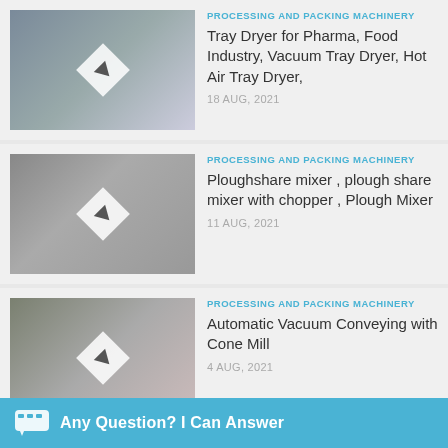[Figure (screenshot): Video thumbnail for Tray Dryer]
PROCESSING AND PACKING MACHINERY
Tray Dryer for Pharma, Food Industry, Vacuum Tray Dryer, Hot Air Tray Dryer,
18 AUG, 2021
[Figure (screenshot): Video thumbnail for Ploughshare mixer]
PROCESSING AND PACKING MACHINERY
Ploughshare mixer , plough share mixer with chopper , Plough Mixer
11 AUG, 2021
[Figure (screenshot): Video thumbnail for Automatic Vacuum Conveying]
PROCESSING AND PACKING MACHINERY
Automatic Vacuum Conveying with Cone Mill
4 AUG, 2021
[Figure (screenshot): Video thumbnail for Automatic Single Head Wad Inserting Machine]
PROCESSING AND PACKING MACHINERY
Automatic Single Head Wad Inserting Machine with Vibrator Bowl, Wadding Machine with Vibrator Bowl
Any Question? I Can Answer